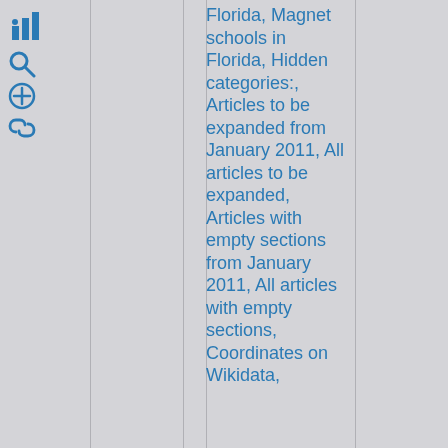[Figure (other): Wikipedia-style toolbar icons: bar chart icon, search/magnifying glass icon, plus/circle icon, and link/chain icon, arranged vertically on the left side]
Florida, Magnet schools in Florida, Hidden categories:, Articles to be expanded from January 2011, All articles to be expanded, Articles with empty sections from January 2011, All articles with empty sections, Coordinates on Wikidata,